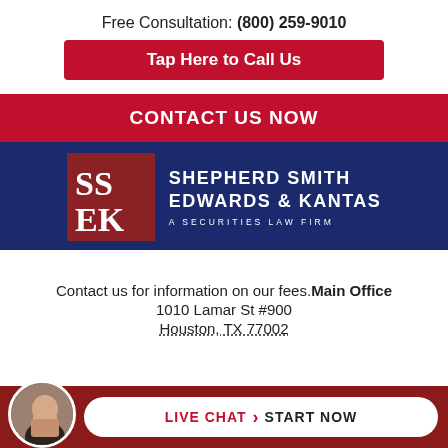Free Consultation: (800) 259-9010
Tap Here to Call Us
CONTACT US NOW
[Figure (logo): Shepherd Smith Edwards & Kantas - A Securities Law Firm logo with SSEK monogram on dark red background]
Contact us for information on our fees. Main Office
1010 Lamar St #900
Houston, TX 77002
LIVE CHAT › START NOW